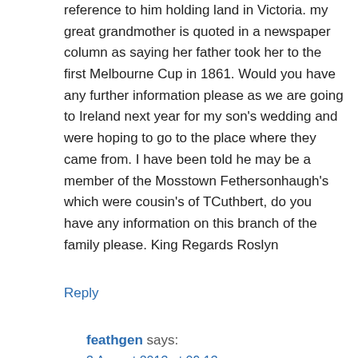reference to him holding land in Victoria. my great grandmother is quoted in a newspaper column as saying her father took her to the first Melbourne Cup in 1861. Would you have any further information please as we are going to Ireland next year for my son's wedding and were hoping to go to the place where they came from. I have been told he may be a member of the Mosstown Fethersonhaugh's which were cousin's of TCuthbert, do you have any information on this branch of the family please. King Regards Roslyn
Reply
feathgen says:
3 August 2013 at 09:13
Rosyln —-In 1991 a Mrs Veronica De Araugo placed a notice in the Westmeath Examiner seeking information regarding the Kellys and Fetherstonhaugh. I Quote